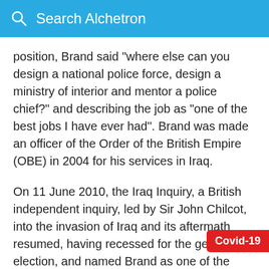Search Alchetron
position, Brand said "where else can you design a national police force, design a ministry of interior and mentor a police chief?" and describing the job as "one of the best jobs I have ever had". Brand was made an officer of the Order of the British Empire (OBE) in 2004 for his services in Iraq.
On 11 June 2010, the Iraq Inquiry, a British independent inquiry, led by Sir John Chilcot, into the invasion of Iraq and its aftermath resumed, having recessed for the general election, and named Brand as one of the witnesses to whom the committee would be speaking. In his evidence to the inquiry, Brand stated that British and officials had overlooked policing requirements
Covid-19